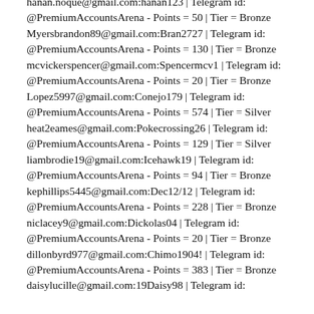hanan.noque@gmail.com:hanan123 | Telegram id: @PremiumAccountsArena - Points = 50 | Tier = Bronze
Myersbrandon89@gmail.com:Bran2727 | Telegram id: @PremiumAccountsArena - Points = 130 | Tier = Bronze
mcvickerspencer@gmail.com:Spencermcv1 | Telegram id: @PremiumAccountsArena - Points = 20 | Tier = Bronze
Lopez5997@gmail.com:Conejo179 | Telegram id: @PremiumAccountsArena - Points = 574 | Tier = Silver
heat2eames@gmail.com:Pokecrossing26 | Telegram id: @PremiumAccountsArena - Points = 129 | Tier = Silver
liambrodie19@gmail.com:Icehawk19 | Telegram id: @PremiumAccountsArena - Points = 94 | Tier = Bronze
kephillips5445@gmail.com:Dec12/12 | Telegram id: @PremiumAccountsArena - Points = 228 | Tier = Bronze
niclacey9@gmail.com:Dickolas04 | Telegram id: @PremiumAccountsArena - Points = 20 | Tier = Bronze
dillonbyrd977@gmail.com:Chimo1904! | Telegram id: @PremiumAccountsArena - Points = 383 | Tier = Bronze
daisylucille@gmail.com:19Daisy98 | Telegram id: